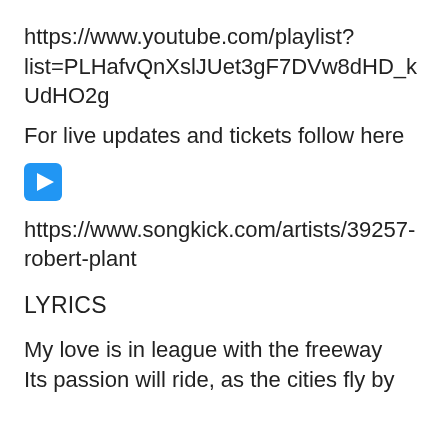https://www.youtube.com/playlist?list=PLHafvQnXslJUet3gF7DVw8dHD_kUdHO2g
For live updates and tickets follow here
[Figure (other): Blue play button icon]
https://www.songkick.com/artists/39257-robert-plant
LYRICS
My love is in league with the freeway
Its passion will ride, as the cities fly by